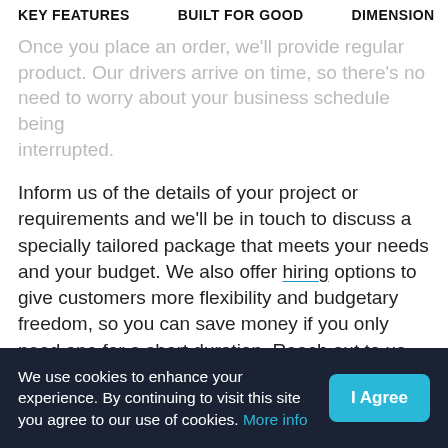KEY FEATURES   BUILT FOR GOOD   DIMENSION
Once you place an order, we'll provide regular product. Our drivers arrive on time, so there's no need to worry about your business schedule being interrupted.
Inform us of the details of your project or requirements and we'll be in touch to discuss a specially tailored package that meets your needs and your budget. We also offer hiring options to give customers more flexibility and budgetary freedom, so you can save money if you only need one for a short duration. Reach out to us today and discover how we can help.
We use cookies to enhance your experience. By continuing to visit this site you agree to our use of cookies. More info